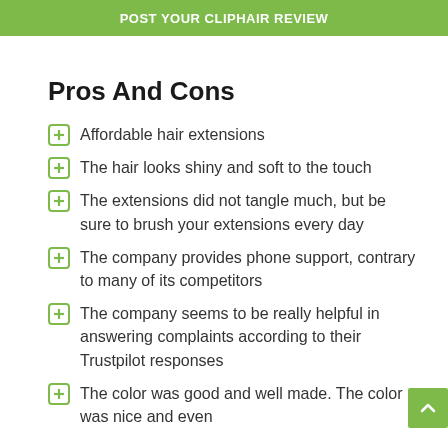POST YOUR CLIPHAIR REVIEW
Pros And Cons
Affordable hair extensions
The hair looks shiny and soft to the touch
The extensions did not tangle much, but be sure to brush your extensions every day
The company provides phone support, contrary to many of its competitors
The company seems to be really helpful in answering complaints according to their Trustpilot responses
The color was good and well made. The color was nice and even